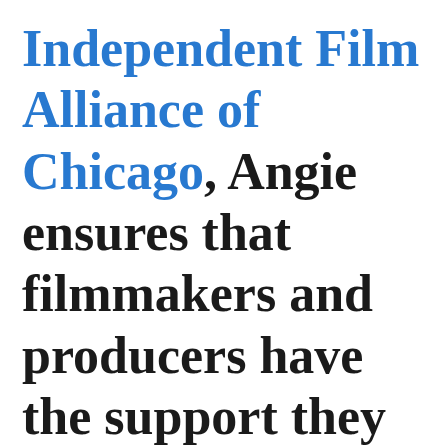Independent Film Alliance of Chicago, Angie ensures that filmmakers and producers have the support they need to succeed and grow. She has worn many hats on